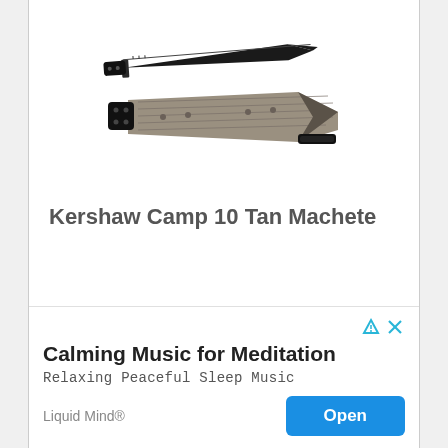[Figure (photo): Two Kershaw Camp 10 Tan Machete knives shown — one blade facing up and one in its tan/grey sheath with black handle, photographed on white background]
Kershaw Camp 10 Tan Machete
[Figure (screenshot): Advertisement banner: 'Calming Music for Meditation' by Liquid Mind, subtitled 'Relaxing Peaceful Sleep Music', with a blue Open button and ad close/info icons in top right corner]